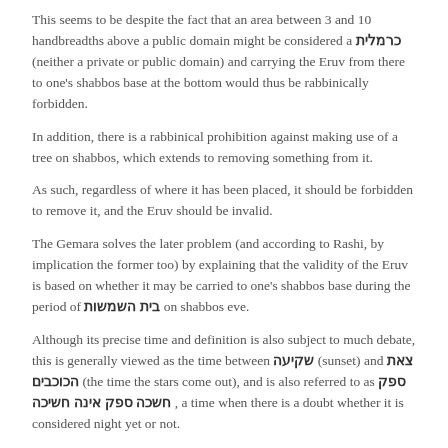This seems to be despite the fact that an area between 3 and 10 handbreadths above a public domain might be considered a כרמלית (neither a private or public domain) and carrying the Eruv from there to one's shabbos base at the bottom would thus be rabbinically forbidden.
In addition, there is a rabbinical prohibition against making use of a tree on shabbos, which extends to removing something from it.
As such, regardless of where it has been placed, it should be forbidden to remove it, and the Eruv should be invalid.
The Gemara solves the later problem (and according to Rashi, by implication the former too) by explaining that the validity of the Eruv is based on whether it may be carried to one's shabbos base during the period of בית השמשות on shabbos eve.
Although its precise time and definition is also subject to much debate, this is generally viewed as the time between שקיעה (sunset) and צאת הכוכבים (the time the stars come out), and is also referred to as ספק חשכה ספק אינה חשיכה , a time when there is a doubt whether it is considered night yet or not.